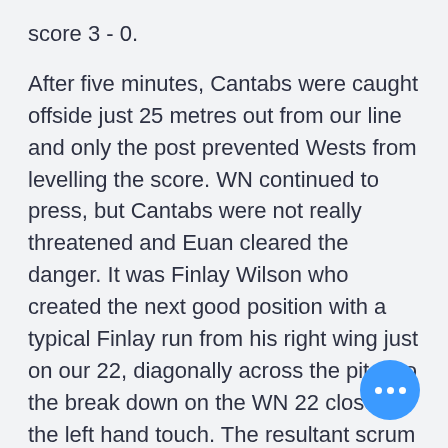score 3 - 0.

After five minutes, Cantabs were caught offside just 25 metres out from our line and only the post prevented Wests from levelling the score. WN continued to press, but Cantabs were not really threatened and Euan cleared the danger. It was Finlay Wilson who created the next good position with a typical Finlay run from his right wing just on our 22, diagonally across the pitch to the break down on the WN 22 close to the left hand touch. The resultant scrum saw Cantabs hold the ball in, driving the opposition back, before we gained touch on the 5m line. The line out was won, WN were penalised and we went for a 5m scrum, The scrum moved rapidly to the try line, but we lost control at a vital moment and Wests breathed again.